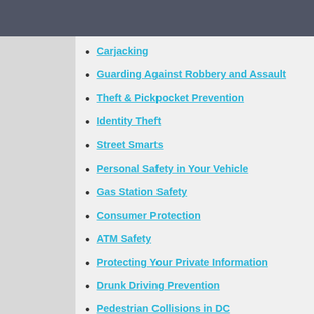Carjacking
Guarding Against Robbery and Assault
Theft & Pickpocket Prevention
Identity Theft
Street Smarts
Personal Safety in Your Vehicle
Gas Station Safety
Consumer Protection
ATM Safety
Protecting Your Private Information
Drunk Driving Prevention
Pedestrian Collisions in DC
Pedestrian Protection Bus Safety Law
Pedestrian Bus Safety